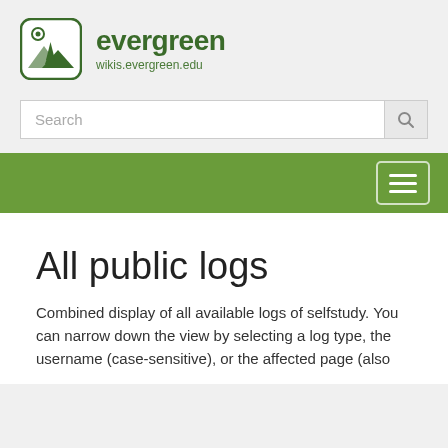[Figure (logo): Evergreen wiki logo — rounded square with tree and mountain scene in dark green, text 'evergreen' bold dark green, URL 'wikis.evergreen.edu' below]
wikis.evergreen.edu
Search
All public logs
Combined display of all available logs of selfstudy. You can narrow down the view by selecting a log type, the username (case-sensitive), or the affected page (also